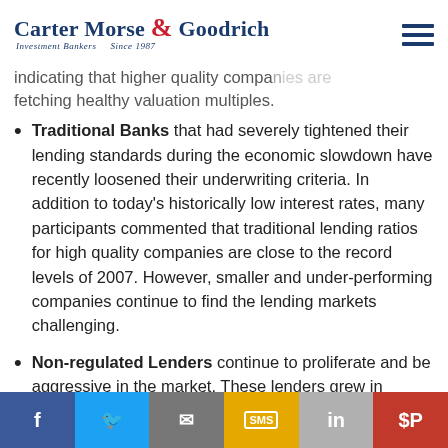Carter Morse & Goodrich — Investment Bankers Since 1987
comparison with the fourth quarter of 2012, which was one of the best quarters in the last five years... indicating that higher quality companies are fetching healthy valuation multiples.
Traditional Banks that had severely tightened their lending standards during the economic slowdown have recently loosened their underwriting criteria. In addition to today's historically low interest rates, many participants commented that traditional lending ratios for high quality companies are close to the record levels of 2007. However, smaller and under-performing companies continue to find the lending markets challenging.
Non-regulated Lenders continue to proliferate and be aggressive in the market. These lenders grew in
f | tweet | email | SMS | in | pinterest